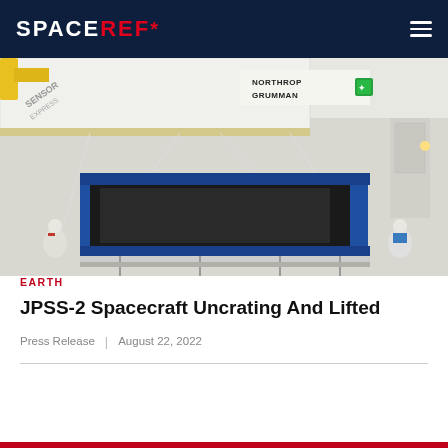SPACEREF*
[Figure (photo): A spacecraft or large equipment being uncrated and lifted in a cleanroom facility. The equipment is wrapped in blue and black protective material, with workers in white cleanroom suits nearby. A large white shipping crate with 'NORTHROP GRUMMAN' text and hazard markings is visible overhead, with yellow crane hardware.]
EARTH
JPSS-2 Spacecraft Uncrating And Lifted
Press Release | August 22, 2022